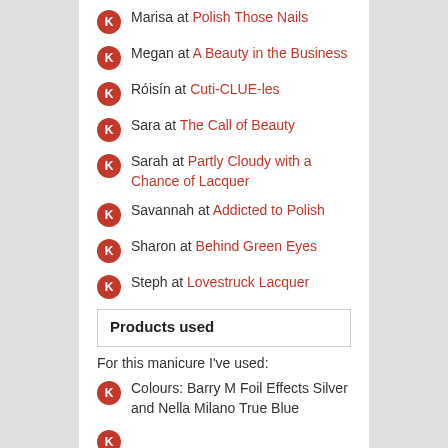Marisa at Polish Those Nails
Megan at A Beauty in the Business
Róisín at Cuti-CLUE-les
Sara at The Call of Beauty
Sarah at Partly Cloudy with a Chance of Lacquer
Savannah at Addicted to Polish
Sharon at Behind Green Eyes
Steph at Lovestruck Lacquer
Products used
For this manicure I've used:
Colours: Barry M Foil Effects Silver and Nella Milano True Blue